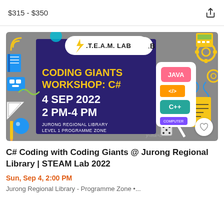$315 - $350
[Figure (illustration): STEAM LAB banner for Coding Giants Workshop: C# event on 4 Sep 2022, 2 PM-4 PM at Jurong Regional Library Level 1 Programme Zone, with coding language icons (Java, C++, </>) on a dark background with science/technology themed decorations]
C# Coding with Coding Giants @ Jurong Regional Library | STEAM Lab 2022
Sun, Sep 4, 2:00 PM
Jurong Regional Library - Programme Zone •...